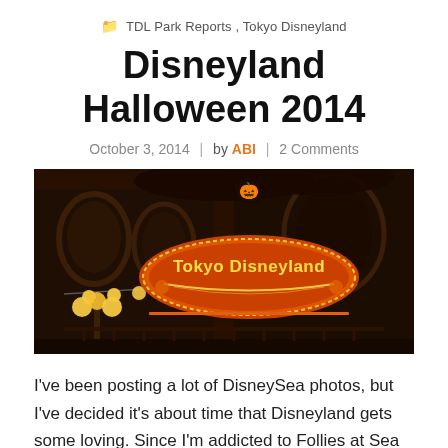TDL Park Reports, Tokyo Disneyland
Disneyland Halloween 2014
October 3, 2014 | by ABI | 2 Comments
[Figure (photo): Tokyo Disneyland illuminated entrance sign with Halloween decorations, glowing orange and yellow lights against a dark background with ornate architecture]
I've been posting a lot of DisneySea photos, but I've decided it's about time that Disneyland gets some loving. Since I'm addicted to Follies at Sea